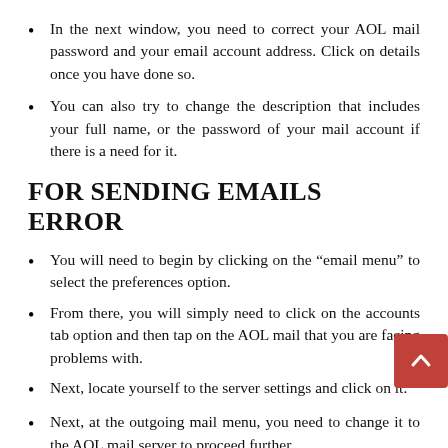In the next window, you need to correct your AOL mail password and your email account address. Click on details once you have done so.
You can also try to change the description that includes your full name, or the password of your mail account if there is a need for it.
FOR SENDING EMAILS ERROR
You will need to begin by clicking on the “email menu” to select the preferences option.
From there, you will simply need to click on the accounts tab option and then tap on the AOL mail that you are facing problems with.
Next, locate yourself to the server settings and click on it.
Next, at the outgoing mail menu, you need to change it to the AOL mail server to proceed further.
In case you want to verify these server settings of the server, you need to navigate to the menu and click on edit of the SMTP server list.